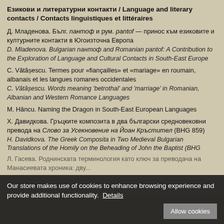Езикови и литературни контакти / Language and literary contacts / Contacts linguistiques et littéraires
Д. Младенова. Бълг. пантоф и рум. pantof — принос към езиковите и културните контакти в Югоизточна Европа
D. Mladenova. Bulgarian пантоф and Romanian pantof: A Contribution to the Exploration of Language and Cultural Contacts in South-East Europe
C. Vătășescu. Termes pour «fiançailles» et «mariage» en roumain, albanais et les langues romanes occidentales
C. Vătășescu. Words meaning 'betrothal' and 'marriage' in Romanian, Albanian and Western Romance Languages
M. Hâncu. Naming the Dragon in South-East European Languages
Х. Давидкова. Гръцките композита в два български средновековни превода на Слово за Усекновение на Йоан Кръстител (BHG 859)
H. Davidkova. The Greek Composita in Two Medieval Bulgarian Translations of the Homily on the Beheading of John the Baptist (BHG...
Our store makes use of cookies to enhance browsing experience and provide additional functionality.  Details   Allow cookies